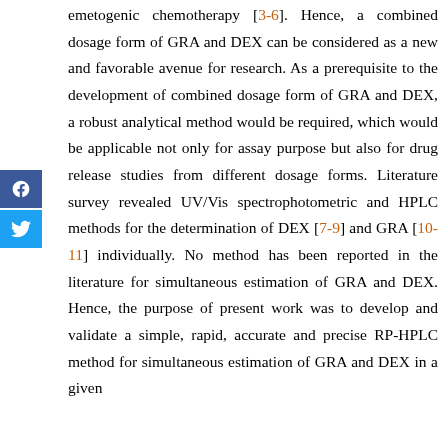emetogenic chemotherapy [3-6]. Hence, a combined dosage form of GRA and DEX can be considered as a new and favorable avenue for research. As a prerequisite to the development of combined dosage form of GRA and DEX, a robust analytical method would be required, which would be applicable not only for assay purpose but also for drug release studies from different dosage forms. Literature survey revealed UV/Vis spectrophotometric and HPLC methods for the determination of DEX [7-9] and GRA [10-11] individually. No method has been reported in the literature for simultaneous estimation of GRA and DEX. Hence, the purpose of present work was to develop and validate a simple, rapid, accurate and precise RP-HPLC method for simultaneous estimation of GRA and DEX in a given